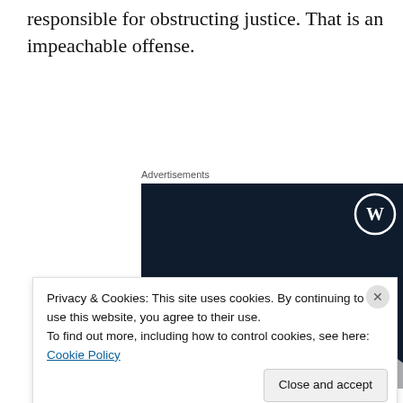responsible for obstructing justice.  That is an impeachable offense.
Advertisements
[Figure (photo): WordPress advertisement banner on dark navy background with WordPress logo (W in circle) in top right. Text reads 'Opinions. We all have them!' with a pink button at the bottom.]
Privacy & Cookies: This site uses cookies. By continuing to use this website, you agree to their use.
To find out more, including how to control cookies, see here: Cookie Policy